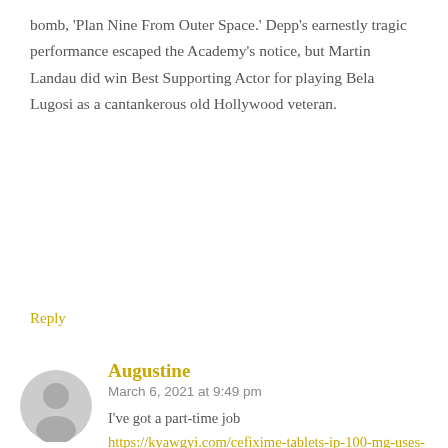bomb, 'Plan Nine From Outer Space.' Depp's earnestly tragic performance escaped the Academy's notice, but Martin Landau did win Best Supporting Actor for playing Bela Lugosi as a cantankerous old Hollywood veteran.
Reply
[Figure (illustration): Generic grey avatar/user icon showing a silhouette of a person]
Augustine
March 6, 2021 at 9:49 pm
I've got a part-time job https://kyawgyi.com/cefixime-tablets-ip-100-mg-uses-in-hindi-eosc harga cefixime 200 mg interbat Scores of angry residents took to the streets of Goma in protest following several days of violence that have left at least seven